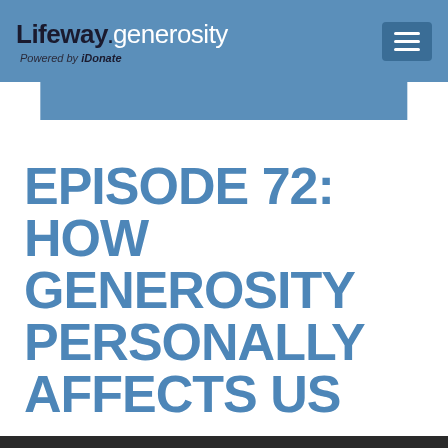Lifeway.generosity — Powered by iDonate
EPISODE 72: HOW GENEROSITY PERSONALLY AFFECTS US
August 19, 2020 by Generosity by Lifeway
—